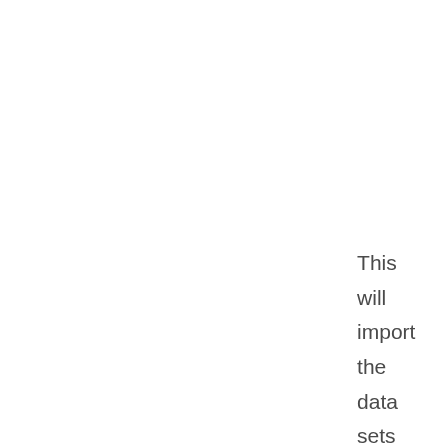This will import the data sets as defined by the LDIF